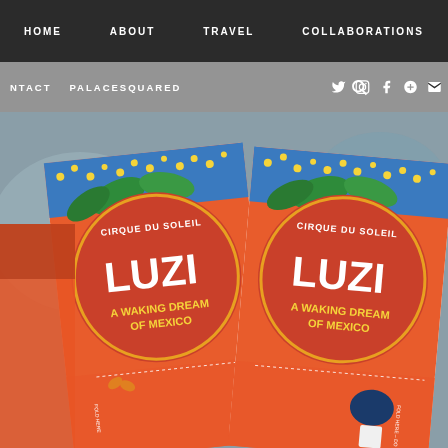HOME   ABOUT   TRAVEL   COLLABORATIONS
NTACT   PALACESQUARED   [search] [twitter] [instagram] [facebook] [google+] [email]
[Figure (photo): Close-up photo of Cirque du Soleil LUZIA show tickets/brochures with colorful artwork featuring tropical imagery. The red circular logo reads 'CIRQUE DU SOLEIL' and 'LUZIA' in large white letters, with subtitle 'A WAKING DREAM OF MEXICO'. The tickets have perforated fold lines with text 'FOLD HERE - DO NOT DETACH'.]